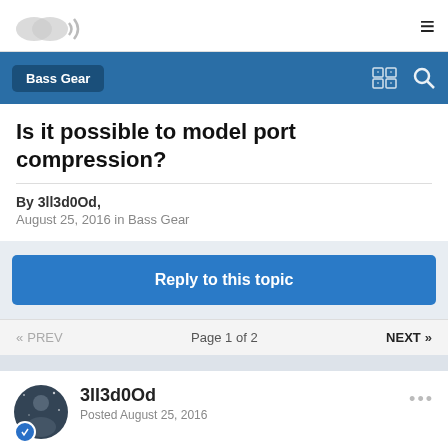Bass Gear
Is it possible to model port compression?
By 3ll3d0Od,
August 25, 2016 in Bass Gear
Reply to this topic
« PREV   Page 1 of 2   NEXT »
3ll3d0Od
Posted August 25, 2016